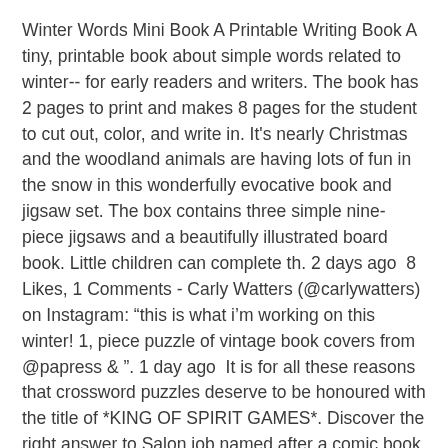Winter Words Mini Book A Printable Writing Book A tiny, printable book about simple words related to winter-- for early readers and writers. The book has 2 pages to print and makes 8 pages for the student to cut out, color, and write in. It's nearly Christmas and the woodland animals are having lots of fun in the snow in this wonderfully evocative book and jigsaw set. The box contains three simple nine-piece jigsaws and a beautifully illustrated board book. Little children can complete th. 2 days ago  8 Likes, 1 Comments - Carly Watters (@carlywatters) on Instagram: “this is what i'm working on this winter! 1, piece puzzle of vintage book covers from @papress & ". 1 day ago  It is for all these reasons that crossword puzzles deserve to be honoured with the title of *KING OF SPIRIT GAMES*. Discover the right answer to Salon job named after a comic book hero? found on New York Times Crossword of Novem